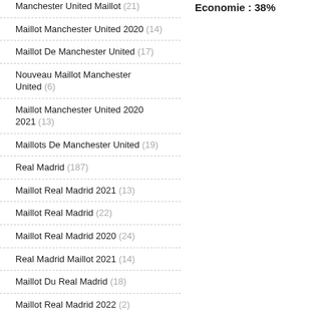Manchester United Maillot (21)
Maillot Manchester United 2020 (14)
Maillot De Manchester United (17)
Nouveau Maillot Manchester United (6)
Maillot Manchester United 2020 2021 (13)
Maillots De Manchester United (19)
Real Madrid (187)
Maillot Real Madrid 2021 (13)
Maillot Real Madrid (22)
Maillot Real Madrid 2020 (24)
Real Madrid Maillot 2021 (14)
Maillot Du Real Madrid (18)
Maillot Real Madrid 2022 (2)
Maillots Du Real Madrid (20)
Real Madrid Maillot (21)
Economie : 38%